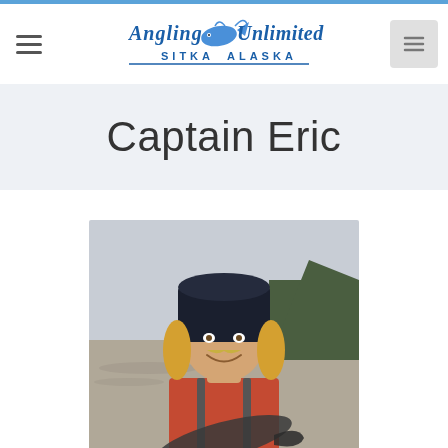Angling Unlimited - Sitka Alaska
Captain Eric
[Figure (photo): Photo of Captain Eric, a man with long blond hair and a dark beanie hat, smiling and holding a large fish. He is outdoors near water with trees visible in the background. He is wearing a red shirt and suspenders.]